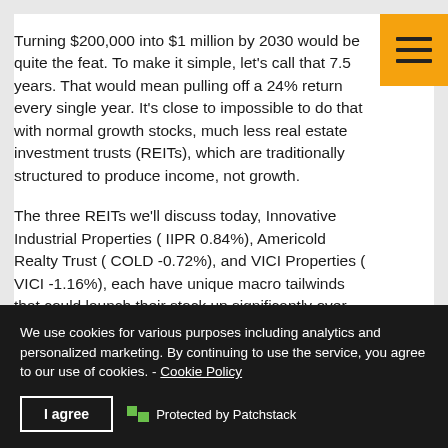Turning $200,000 into $1 million by 2030 would be quite the feat. To make it simple, let's call that 7.5 years. That would mean pulling off a 24% return every single year. It's close to impossible to do that with normal growth stocks, much less real estate investment trusts (REITs), which are traditionally structured to produce income, not growth.
The three REITs we'll discuss today, Innovative Industrial Properties ( IIPR 0.84%), Americold Realty Trust ( COLD -0.72%), and VICI Properties ( VICI -1.16%), each have unique macro tailwinds that could launch their stock up significantly over the next few years in ways that...
We use cookies for various purposes including analytics and personalized marketing. By continuing to use the service, you agree to our use of cookies. - Cookie Policy